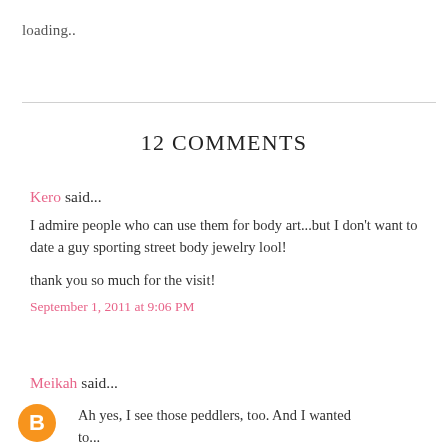loading..
12 COMMENTS
Kero said...
I admire people who can use them for body art...but I don't want to date a guy sporting street body jewelry lool!

thank you so much for the visit!
September 1, 2011 at 9:06 PM
Meikah said...
Ah yes, I see those peddlers, too. And I wanted to...